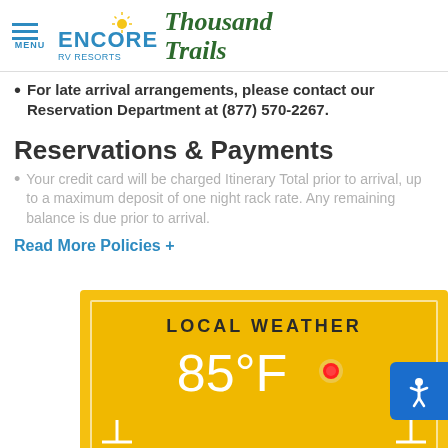MENU | ENCORE RV RESORTS | Thousand Trails
For late arrival arrangements, please contact our Reservation Department at (877) 570-2267.
Reservations & Payments
Your credit card will be charged Itinerary Total prior to arrival, up to a maximum deposit of one night rack rate. Any remaining balance is due prior to arrival.
Read More Policies +
[Figure (infographic): Local Weather widget showing 85°F with a sun/thermometer icon on a yellow background]